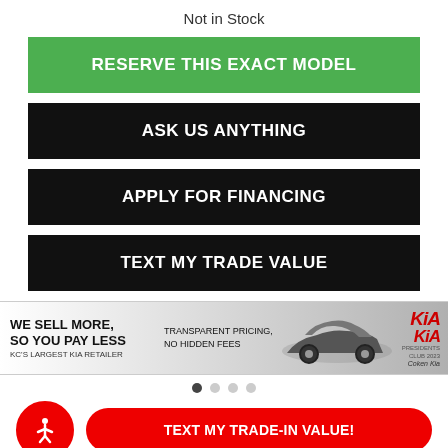Not in Stock
RESERVE THIS EXACT MODEL
ASK US ANYTHING
APPLY FOR FINANCING
TEXT MY TRADE VALUE
[Figure (screenshot): Kia dealership ad banner: 'WE SELL MORE, SO YOU PAY LESS - KC'S LARGEST KIA RETAILER' with Transparent Pricing, No Hidden Fees text, car image, and Kia logos]
TEXT MY TRADE-IN VALUE!
Chat Live
Text Us
Alerts